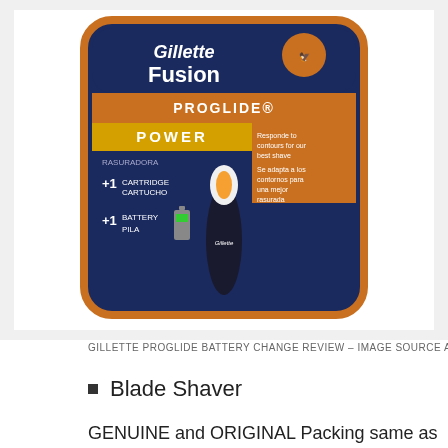[Figure (photo): Gillette Fusion ProGlide Power razor product packaging showing the razor with +1 cartridge and +1 battery, with text 'Responde to contours for our best shave / Se adapta a los contornos para una mejor rasurada']
GILLETTE PROGLIDE BATTERY CHANGE REVIEW – IMAGE SOURCE AMAZON
Blade Shaver
GENUINE and ORIGINAL Packing same as Pictures. • The battery vibration method and the new flex ball Realizes the optimal shave! Blade Shaver Head: * 5 + 1 Blade And 5 of the contact blades: Front 1 Single-precision blades (trimmer): back * Replaceable day: Fusion Pro Glide Power Razor* Swing Head * Battery, a contribution method *